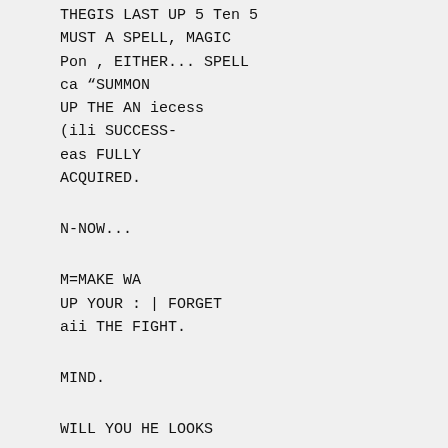THEGIS LAST UP 5 Ten 5
MUST A SPELL, MAGIC
Pon , EITHER... SPELL
ca “SUMMON
UP THE AN iecess
(ili SUCCESS-
eas FULLY
ACQUIRED.
N-NOW...
M=MAKE WA
UP YOUR : | FORGET
aii THE FIGHT.
MIND.
WILL YOU HE LOOKS
LIKE HE'S